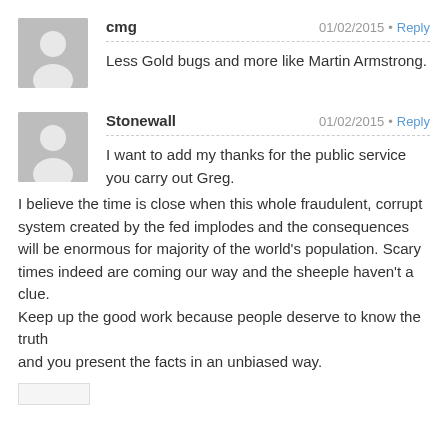cmg — 01/02/2015 · Reply
Less Gold bugs and more like Martin Armstrong.
Stonewall — 01/02/2015 · Reply
I want to add my thanks for the public service you carry out Greg.
I believe the time is close when this whole fraudulent, corrupt system created by the fed implodes and the consequences will be enormous for majority of the world's population. Scary times indeed are coming our way and the sheeple haven't a clue.
Keep up the good work because people deserve to know the truth
and you present the facts in an unbiased way.